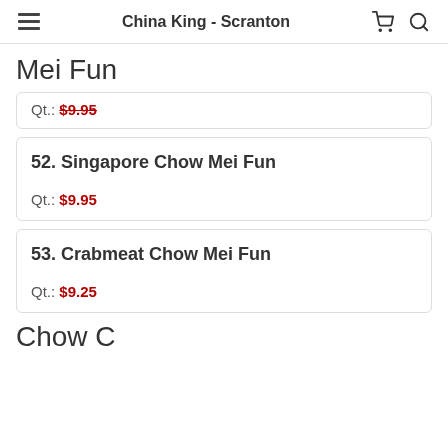China King - Scranton
Mei Fun
Qt.: $9.95
52. Singapore Chow Mei Fun
Qt.: $9.95
53. Crabmeat Chow Mei Fun
Qt.: $9.25
Chow C...